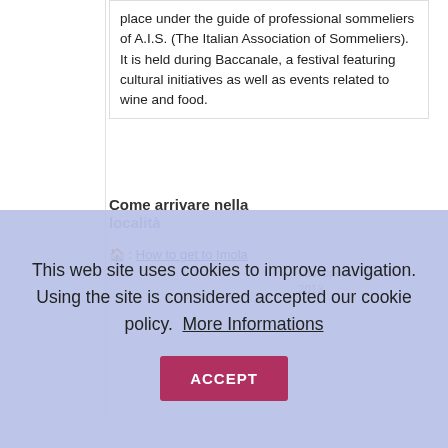place under the guide of professional sommeliers of A.I.S. (The Italian Association of Sommeliers). It is held during Baccanale, a festival featuring cultural initiatives as well as events related to wine and food.
Come arrivare nella località
🏠 : How to get to Imola
Last update: 18-10-2013
This web site uses cookies to improve navigation. Using the site is considered accepted our cookie policy. More Informations ACCEPT